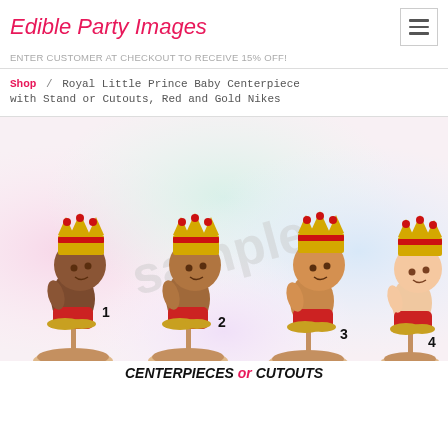Edible Party Images
ENTER CUSTOMER AT CHECKOUT TO RECEIVE 15% OFF!
Shop / Royal Little Prince Baby Centerpiece with Stand or Cutouts, Red and Gold Nikes
[Figure (photo): Four baby prince figurines with royal crowns and red shorts with gold Nike sneakers, numbered 1-4 representing different skin tones, displayed on wooden stands. Watermark 'sample' across the image. Bottom banner reads 'CENTERPIECES or CUTOUTS'.]